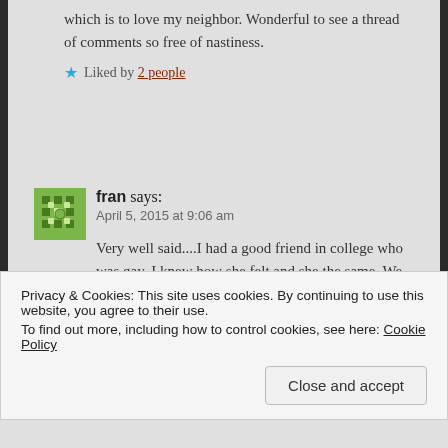which is to love my neighbor. Wonderful to see a thread of comments so free of nastiness.
Liked by 2 people
fran says:
April 5, 2015 at 9:06 am
Very well said....I had a good friend in college who was gay. I knew how she felt and she the same. We never discused homosexuality.
Like
Privacy & Cookies: This site uses cookies. By continuing to use this website, you agree to their use.
To find out more, including how to control cookies, see here: Cookie Policy
Close and accept